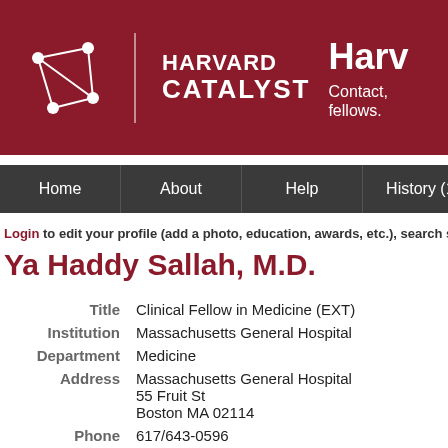[Figure (logo): Harvard Catalyst logo with network graph icon and text 'HARVARD CATALYST', and right side text 'Harv...' with subtitle 'Contact, fellows.']
Home | About | Help | History (1)
Login to edit your profile (add a photo, education, awards, etc.), search s
Ya Haddy Sallah, M.D.
| Field | Value |
| --- | --- |
| Title | Clinical Fellow in Medicine (EXT) |
| Institution | Massachusetts General Hospital |
| Department | Medicine |
| Address | Massachusetts General Hospital
55 Fruit St
Boston MA 02114 |
| Phone | 617/643-0596 |
| vCard | Download vCard (login for email) |